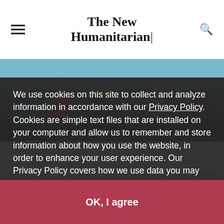The New Humanitarian
[Figure (photo): Group of people gathered together outdoors near water, scene from humanitarian context]
We use cookies on this site to collect and analyze information in accordance with our Privacy Policy. Cookies are simple text files that are installed on your computer and allow us to remember and store information about how you use the website, in order to enhance your user experience. Our Privacy Policy covers how we use data you may provide to us by visiting our website or registering as a subscriber. By continuing to use this website, you give your consent to our Privacy Policy and to our use of cookies.
OK, I agree
(L...
Also available in: Français...